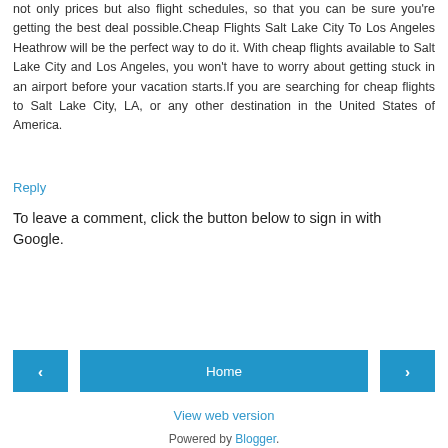not only prices but also flight schedules, so that you can be sure you're getting the best deal possible.Cheap Flights Salt Lake City To Los Angeles Heathrow will be the perfect way to do it. With cheap flights available to Salt Lake City and Los Angeles, you won't have to worry about getting stuck in an airport before your vacation starts.If you are searching for cheap flights to Salt Lake City, LA, or any other destination in the United States of America.
Reply
To leave a comment, click the button below to sign in with Google.
SIGN IN WITH GOOGLE
‹
Home
›
View web version
Powered by Blogger.